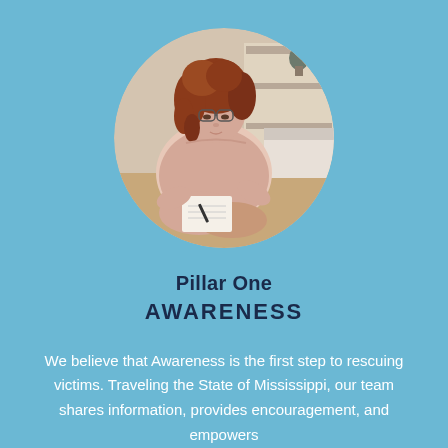[Figure (photo): A young woman with curly red hair and glasses sitting cross-legged, wearing a light pink sweater, writing in a notebook. The circular photo is set against a light blue background. A couch and shelving unit are visible in the background.]
Pillar One
AWARENESS
We believe that Awareness is the first step to rescuing victims. Traveling the State of Mississippi, our team shares information, provides encouragement, and empowers